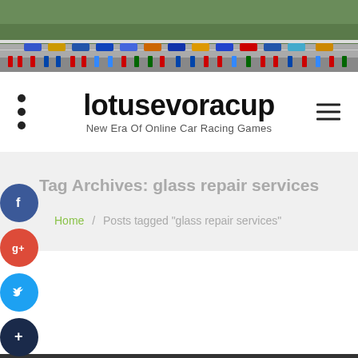[Figure (photo): Aerial/wide-angle photo of racing cars lined up on a race track with spectators and team members in colored shirts visible along the pit lane area. Green grass and track infrastructure visible.]
lotusevoracup
New Era Of Online Car Racing Games
Tag Archives: glass repair services
Home / Posts tagged "glass repair services"